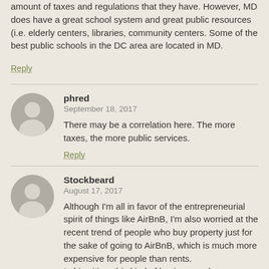amount of taxes and regulations that they have. However, MD does have a great school system and great public resources (i.e. elderly centers, libraries, community centers. Some of the best public schools in the DC area are located in MD.
Reply
phred
September 18, 2017
There may be a correlation here. The more taxes, the more public services.
Reply
Stockbeard
August 17, 2017
Although I'm all in favor of the entrepreneurial spirit of things like AirBnB, I'm also worried at the recent trend of people who buy property just for the sake of going to AirBnB, which is much more expensive for people than rents.
In big cities, this kind of business reduces